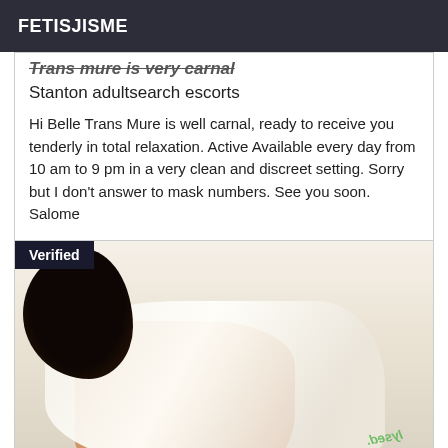FETISJISME
Trans mure is very carnal
Stanton adultsearch escorts
Hi Belle Trans Mure is well carnal, ready to receive you tenderly in total relaxation. Active Available every day from 10 am to 9 pm in a very clean and discreet setting. Sorry but I don't answer to mask numbers. See you soon. Salome
[Figure (photo): Photo of a person viewed from behind wearing white lingerie, lying on a light surface. A 'Verified' badge appears in the top-left corner. A green tattoo text is visible on the lower right.]